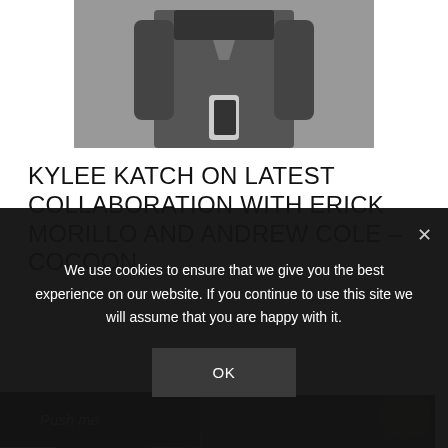[Figure (photo): Black and white photo of a person in dark clothing holding something, cropped at the top]
KYLEE KATCH ON LATEST COLLABORATION WITH ERICK MORILLO AND ANDREW COLE – COCOON
[Figure (photo): Color concert photo of a person with spiky hair headbanging and another person in striped shirt playing guitar on stage]
We use cookies to ensure that we give you the best experience on our website. If you continue to use this site we will assume that you are happy with it.